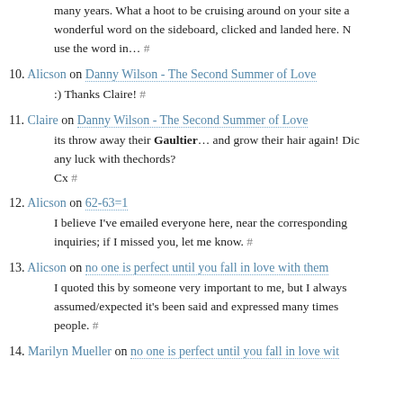many years. What a hoot to be cruising around on your site a wonderful word on the sideboard, clicked and landed here. N use the word in… #
10. Alicson on Danny Wilson - The Second Summer of Love
:) Thanks Claire! #
11. Claire on Danny Wilson - The Second Summer of Love
its throw away their Gaultier… and grow their hair again! Dic any luck with thechords? Cx #
12. Alicson on 62-63=1
I believe I've emailed everyone here, near the corresponding inquiries; if I missed you, let me know. #
13. Alicson on no one is perfect until you fall in love with them
I quoted this by someone very important to me, but I always assumed/expected it's been said and expressed many times people. #
14. Marilyn Mueller on no one is perfect until you fall in love with